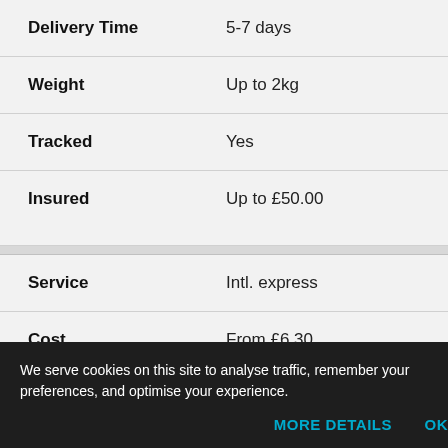| Field | Value |
| --- | --- |
| Delivery Time | 5-7 days |
| Weight | Up to 2kg |
| Tracked | Yes |
| Insured | Up to £50.00 |
| Service | Intl. express |
| Cost | From £6.30 |
| Delivery Time | 3-5 days |
| Weight | Up to 30k... |
We serve cookies on this site to analyse traffic, remember your preferences, and optimise your experience.
MORE DETAILS   OK